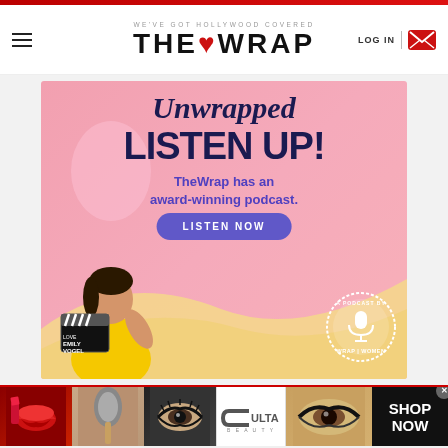WE'VE GOT HOLLYWOOD COVERED — THE WRAP — LOG IN
[Figure (infographic): TheWrap Unwrapped podcast advertisement banner. Pink background with text: 'Unwrapped LISTEN UP! TheWrap has an award-winning podcast. LISTEN NOW'. Features a woman in yellow holding a clapperboard labeled 'EMILY VOGEL' and a circular 'A PODCAST BY WRAP WOMEN' badge with microphone icon.]
[Figure (infographic): Bottom advertisement strip for Ulta Beauty showing makeup images (red lips, makeup brush, eye makeup, woman's eyes) alongside Ulta Beauty logo and 'SHOP NOW' call to action with X close button.]